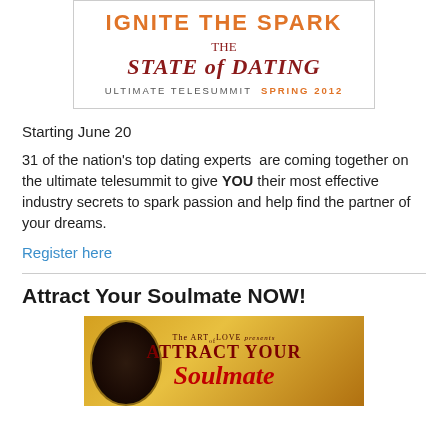[Figure (illustration): Banner for 'Ignite the Spark – The State of Dating Ultimate Telesummit Spring 2012' with orange and dark red text on white background with border.]
Starting June 20
31 of the nation's top dating experts  are coming together on the ultimate telesummit to give YOU their most effective industry secrets to spark passion and help find the partner of your dreams.
Register here
Attract Your Soulmate NOW!
[Figure (illustration): Banner for 'The Art of Love presents Attract Your Soulmate NOW!' with a couple kissing (Klimt-style) image on a golden background with red script text.]